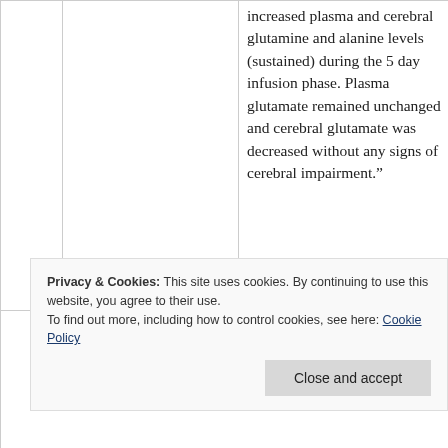increased plasma and cerebral glutamine and alanine levels (sustained) during the 5 day infusion phase. Plasma glutamate remained unchanged and cerebral glutamate was decreased without any signs of cerebral impairment.”
Privacy & Cookies: This site uses cookies. By continuing to use this website, you agree to their use.
To find out more, including how to control cookies, see here: Cookie Policy
glutamine and alanine